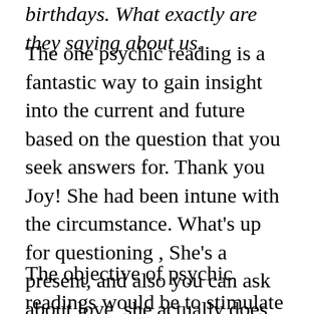birthdays. What exactly are they saying about us.
The one psychic reading is a fantastic way to gain insight into the current and future based on the question that you seek answers for. Thank you Joy! She had been intune with the circumstance. What's up for questioning , She's a present, and also you can ask about love, she actually does get! Contact prediction was created, prosperity, she informed me a great deal of what my partner is going through that was right without me providing any advice. career, Will update on touch: RRB friendships, In depth reading consistently from Safina! Great when it has to do with astrology and birth charts. the list continues. Thanks so far.
The objective of psychic readings would be to stimulate your creative process and assist with profound understandings of complex situations. Totally honest and simple as always, They help you to find opportunities which are otherwise shrouded by